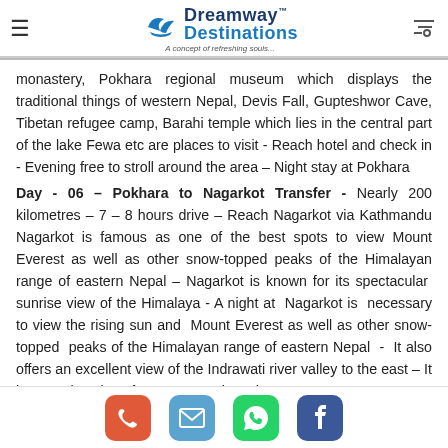Dreamway™ Destinations — A concept of refreshing souls...
monastery, Pokhara regional museum which displays the traditional things of western Nepal, Devis Fall, Gupteshwor Cave, Tibetan refugee camp, Barahi temple which lies in the central part of the lake Fewa etc are places to visit - Reach hotel and check in - Evening free to stroll around the area – Night stay at Pokhara
Day - 06 – Pokhara to Nagarkot Transfer - Nearly 200 kilometres – 7 – 8 hours drive – Reach Nagarkot via Kathmandu Nagarkot is famous as one of the best spots to view Mount Everest as well as other snow-topped peaks of the Himalayan range of eastern Nepal – Nagarkot is known for its spectacular sunrise view of the Himalaya - A night at Nagarkot is necessary to view the rising sun and Mount Everest as well as other snow-topped peaks of the Himalayan range of eastern Nepal - It also offers an excellent view of the Indrawati river valley to the east – It has an elevation of 2195 meters is a place
Phone | Email | WhatsApp | Facebook